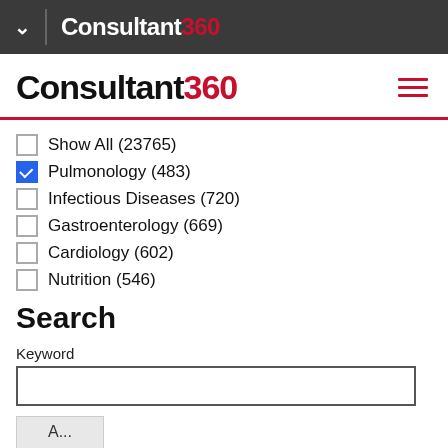Consultant360
Consultant360
Show All (23765)
Pulmonology (483)
Infectious Diseases (720)
Gastroenterology (669)
Cardiology (602)
Nutrition (546)
Search
Keyword